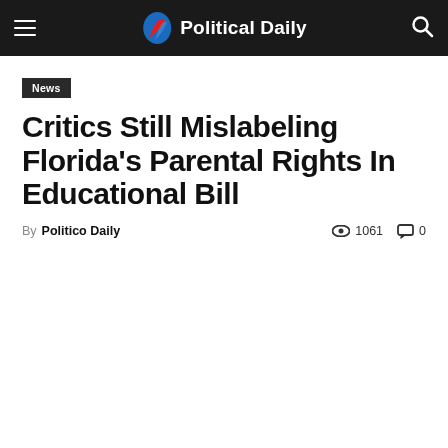Political Daily
News
Critics Still Mislabeling Florida's Parental Rights In Educational Bill
By Politico Daily   1061   0